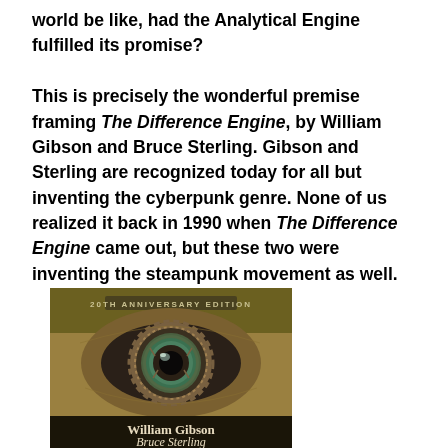world be like, had the Analytical Engine fulfilled its promise?

This is precisely the wonderful premise framing The Difference Engine, by William Gibson and Bruce Sterling. Gibson and Sterling are recognized today for all but inventing the cyberpunk genre. None of us realized it back in 1990 when The Difference Engine came out, but these two were inventing the steampunk movement as well.
[Figure (photo): Book cover of The Difference Engine, 20th Anniversary Edition, showing a close-up of a steampunk mechanical eye with gears. Authors William Gibson and Bruce Sterling listed at the bottom.]